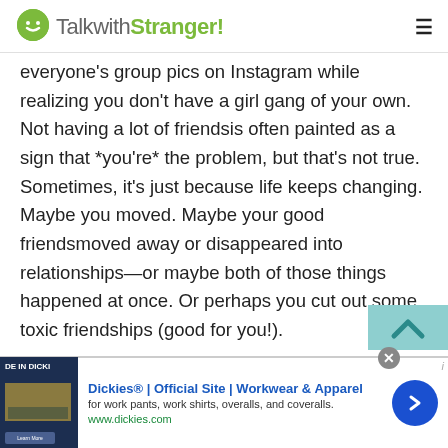TalkwithStranger!
everyone's group pics on Instagram while realizing you don't have a girl gang of your own. Not having a lot of friendsis often painted as a sign that *you're* the problem, but that's not true. Sometimes, it's just because life keeps changing. Maybe you moved. Maybe your good friendsmoved away or disappeared into relationships—or maybe both of those things happened at once. Or perhaps you cut out some toxic friendships (good for you!).
There are a million reasons to let go of some friendships and pursue new ones, but sometimes, the IRL options can feel sparse. You might feel "eh" about your coworkers...
[Figure (screenshot): Advertisement for Dickies® Official Site showing workwear and apparel. Text: 'Dickies® | Official Site | Workwear & Apparel', 'for work pants, work shirts, overalls, and coveralls.', 'www.dickies.com']